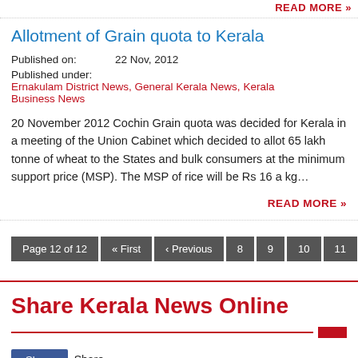READ MORE »
Allotment of Grain quota to Kerala
Published on: 22 Nov, 2012
Published under: Ernakulam District News, General Kerala News, Kerala Business News
20 November 2012 Cochin Grain quota was decided for Kerala in a meeting of the Union Cabinet which decided to allot 65 lakh tonne of wheat to the States and bulk consumers at the minimum support price (MSP). The MSP of rice will be Rs 16 a kg…
READ MORE »
Page 12 of 12  « First  ‹ Previous  8  9  10  11  12
Share Kerala News Online